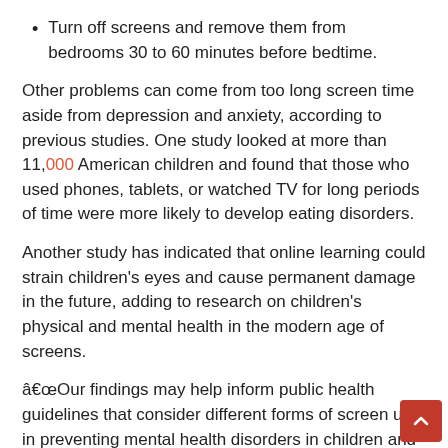Turn off screens and remove them from bedrooms 30 to 60 minutes before bedtime.
Other problems can come from too long screen time aside from depression and anxiety, according to previous studies. One study looked at more than 11,000 American children and found that those who used phones, tablets, or watched TV for long periods of time were more likely to develop eating disorders.
Another study has indicated that online learning could strain children's eyes and cause permanent damage in the future, adding to research on children's physical and mental health in the modern age of screens.
“Our findings may help inform public health guidelines that consider different forms of screen use in preventing mental health disorders in children and youth during the pandemic,” the recent Canadian study said. “With the support of policymakers, schools and teachers, families and healthcare professionals, children can better transition…